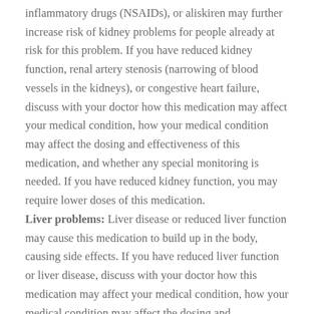inflammatory drugs (NSAIDs), or aliskiren may further increase risk of kidney problems for people already at risk for this problem. If you have reduced kidney function, renal artery stenosis (narrowing of blood vessels in the kidneys), or congestive heart failure, discuss with your doctor how this medication may affect your medical condition, how your medical condition may affect the dosing and effectiveness of this medication, and whether any special monitoring is needed. If you have reduced kidney function, you may require lower doses of this medication. Liver problems: Liver disease or reduced liver function may cause this medication to build up in the body, causing side effects. If you have reduced liver function or liver disease, discuss with your doctor how this medication may affect your medical condition, how your medical condition may affect the dosing and effectiveness of this medication, and whether any special monitoring is needed. This medication is not recommended for people with severe liver impairment.